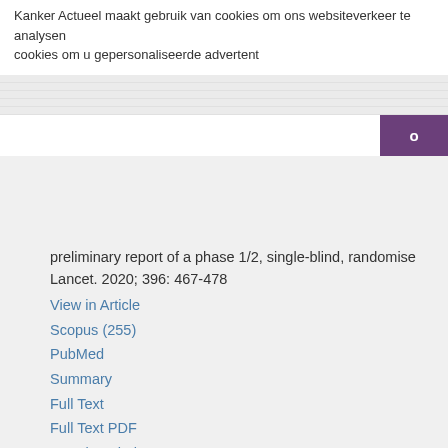Kanker Actueel maakt gebruik van cookies om ons websiteverkeer te analysen cookies om u gepersonaliseerde advertent
preliminary report of a phase 1/2, single-blind, randomise Lancet. 2020; 396: 467-478
View in Article
Scopus (255)
PubMed
Summary
Full Text
Full Text PDF
Google Scholar
13.
Ramasamy MN
Minassian AM